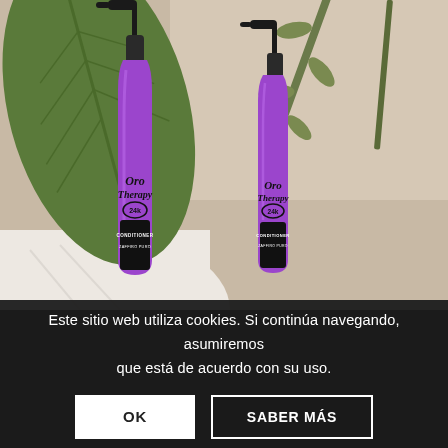[Figure (photo): Two purple pump bottles of Oro Therapy 24k Conditioner Zaffiro Puro, displayed against a background of large green tropical leaves and white cloth/towel, with a beige wall visible.]
Este sitio web utiliza cookies. Si continúa navegando, asumiremos que está de acuerdo con su uso.
OK
SABER MÁS